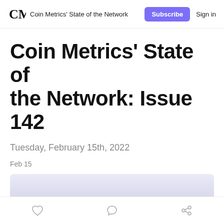Coin Metrics' State of the Network
Coin Metrics' State of the Network: Issue 142
Tuesday, February 15th, 2022
Feb 15
[Figure (illustration): Header hero image with light purple/lavender gradient background and a rounded dome/arc shape in the center bottom]
Like, comment, and share icons